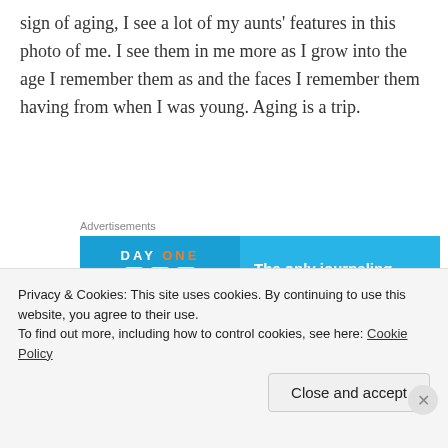sign of aging, I see a lot of my aunts' features in this photo of me. I see them in me more as I grow into the age I remember them as and the faces I remember them having from when I was young. Aging is a trip.
[Figure (other): Day One journaling app advertisement banner with blue background, showing app icons and text 'The only journaling']
Back to the skirt: I LOVE IT. It's fun to wear. It's swishy. It's comfortable. The pockets are the
Privacy & Cookies: This site uses cookies. By continuing to use this website, you agree to their use.
To find out more, including how to control cookies, see here: Cookie Policy